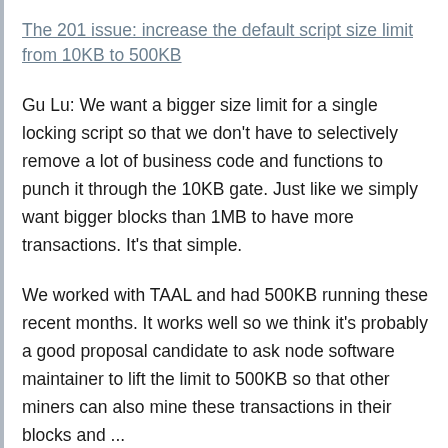The 201 issue: increase the default script size limit from 10KB to 500KB
Gu Lu: We want a bigger size limit for a single locking script so that we don't have to selectively remove a lot of business code and functions to punch it through the 10KB gate. Just like we simply want bigger blocks than 1MB to have more transactions. It's that simple.
We worked with TAAL and had 500KB running these recent months. It works well so we think it's probably a good proposal candidate to ask node software maintainer to lift the limit to 500KB so that other miners can also mine these transactions in their blocks and ...